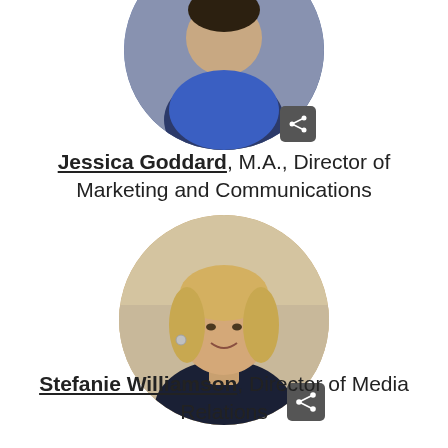[Figure (photo): Circular cropped profile photo of Jessica Goddard, partially shown at top of page, wearing blue.]
Jessica Goddard, M.A., Director of Marketing and Communications
[Figure (photo): Circular cropped profile photo of Stefanie Williamson, a blonde woman smiling, wearing dark top.]
Stefanie Williamson, Director of Media Relations